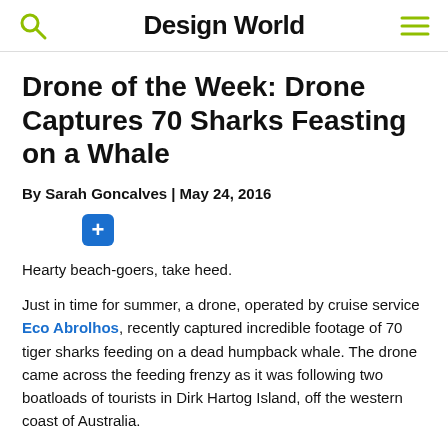Design World
Drone of the Week: Drone Captures 70 Sharks Feasting on a Whale
By Sarah Goncalves | May 24, 2016
Hearty beach-goers, take heed.
Just in time for summer, a drone, operated by cruise service Eco Abrolhos, recently captured incredible footage of 70 tiger sharks feeding on a dead humpback whale. The drone came across the feeding frenzy as it was following two boatloads of tourists in Dirk Hartog Island, off the western coast of Australia.